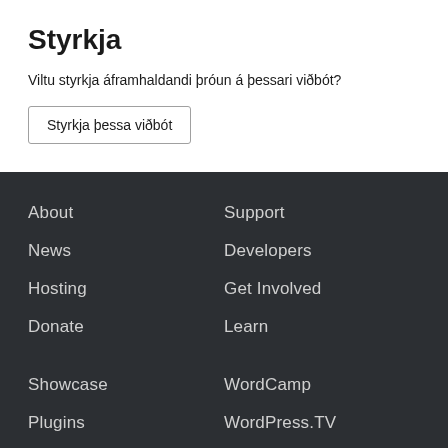Styrkja
Viltu styrkja áframhaldandi þróun á þessari viðbót?
Styrkja þessa viðbót
About
Support
News
Developers
Hosting
Get Involved
Donate
Learn
Showcase
WordCamp
Plugins
WordPress.TV